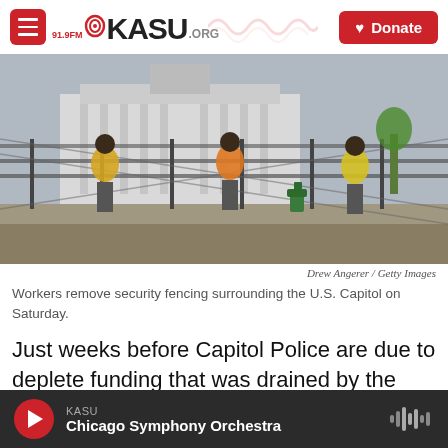KASU 91.9FM .ORG — Donate
[Figure (photo): Workers in yellow and orange safety vests removing chain-link security fencing surrounding the U.S. Capitol building on Saturday. Capitol building visible in background.]
Drew Angerer / Getty Images
Workers remove security fencing surrounding the U.S. Capitol on Saturday.
Just weeks before Capitol Police are due to deplete funding that was drained by the Jan. 6 insurrection, the top Democrat and Republican on a key Senate
KASU — Chicago Symphony Orchestra